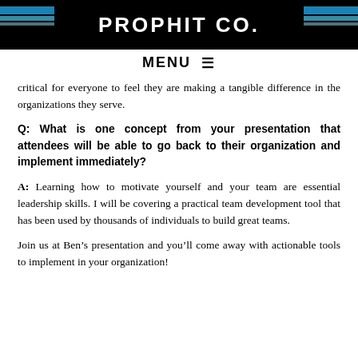PROPHIT CO.
MENU ≡
critical for everyone to feel they are making a tangible difference in the organizations they serve.
Q: What is one concept from your presentation that attendees will be able to go back to their organization and implement immediately?
A: Learning how to motivate yourself and your team are essential leadership skills. I will be covering a practical team development tool that has been used by thousands of individuals to build great teams.
Join us at Ben's presentation and you'll come away with actionable tools to implement in your organization!